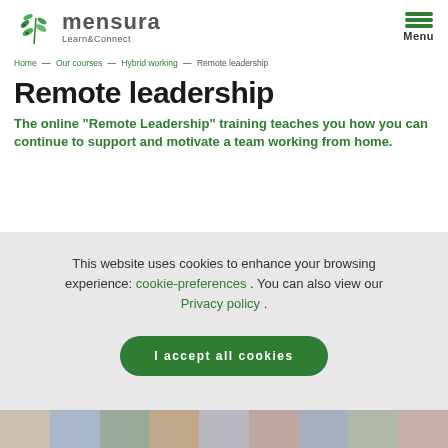mensura Learn&Connect — Menu
Home — Our courses — Hybrid working — Remote leadership
Remote leadership
The online “Remote Leadership” training teaches you how you can continue to support and motivate a team working from home.
This website uses cookies to enhance your browsing experience: cookie-preferences . You can also view our Privacy policy .
I accept all cookies
[Figure (photo): Row of person photos at the bottom of the page]